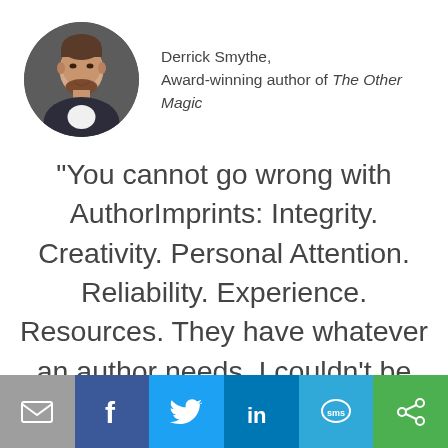[Figure (photo): Circular profile photo of Derrick Smythe, a man with short hair and a beard, smiling, wearing a dark jacket over a white shirt, against a dark background.]
Derrick Smythe,
Award-winning author of The Other Magic
"You cannot go wrong with AuthorImprints: Integrity. Creativity. Personal Attention. Reliability. Experience. Resources. They have whatever an author needs. I couldn’t be more pleased with my experience
[Figure (infographic): Footer social sharing bar with six buttons: email (gray), Facebook (dark blue), Twitter (light blue), LinkedIn (blue), SMS (blue), and a share/other icon (green).]